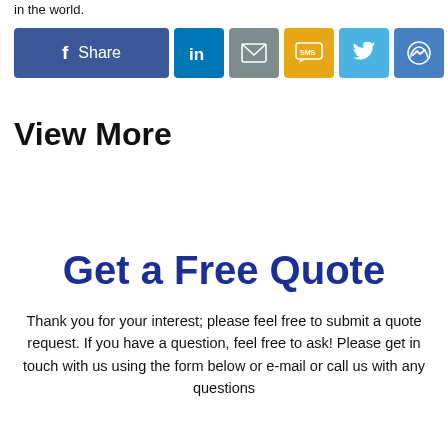in the world.
[Figure (other): Social share buttons row: Facebook Share, LinkedIn, Email, SMS, Twitter, Messenger]
View More
Get a Free Quote
Thank you for your interest; please feel free to submit a quote request. If you have a question, feel free to ask! Please get in touch with us using the form below or e-mail or call us with any questions